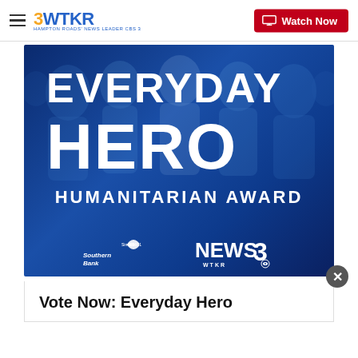3WTKR | Watch Now
[Figure (photo): Everyday Hero Humanitarian Award banner with dark blue background, smiling group of people, large white text 'EVERYDAY HERO' and 'HUMANITARIAN AWARD', with SouthernBank and News 3 WTKR logos at the bottom]
Vote Now: Everyday Hero